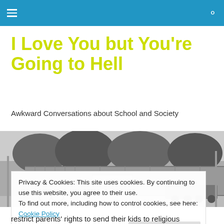I Love You but You're Going to Hell
Awkward Conversations about School and Society
[Figure (photo): Black and white photograph of a wooden fence or building exterior with trees in the background and vehicles visible on the right side.]
Privacy & Cookies: This site uses cookies. By continuing to use this website, you agree to their use.
To find out more, including how to control cookies, see here: Cookie Policy
restrict parents' rights to send their kids to religious